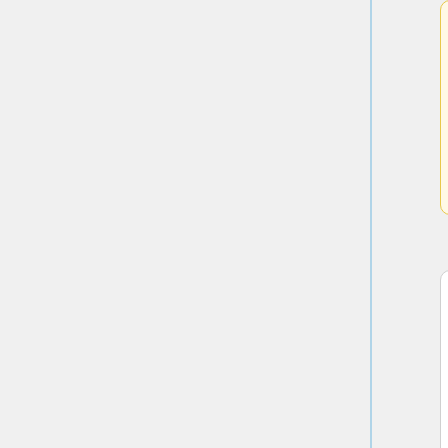ops-access-request with meeting review.
* <code>grafana-admin</code> - All members of the wmf, ops and nda groups have the permission to edit custom dashboards in Grafana. As editing
* <code>grafana-admin</code> - All members of the wmf, ops and nda groups have the permission to edit custom dashboards in Grafana. As editing